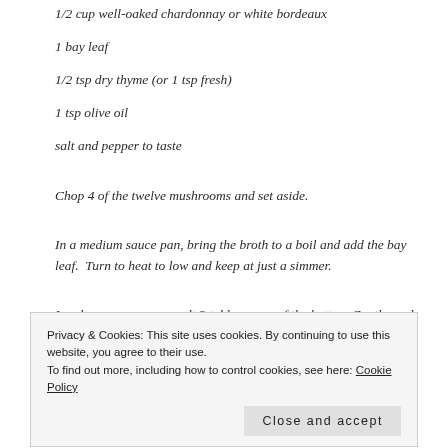1/2 cup well-oaked chardonnay or white bordeaux
1 bay leaf
1/2 tsp dry thyme (or 1 tsp fresh)
1 tsp olive oil
salt and pepper to taste
Chop 4 of the twelve mushrooms and set aside.
In a medium sauce pan, bring the broth to a boil and add the bay leaf.  Turn to heat to low and keep at just a simmer.
In a large sauce pan, melt 2 tablespoons of the butter.  Gently cook the shallot and garlic until fragrant and softened.  Add the rice and cook,
Privacy & Cookies: This site uses cookies. By continuing to use this website, you agree to their use.
To find out more, including how to control cookies, see here: Cookie Policy
Close and accept
Pour the wine into the rice and stir quickly until all the wine has been